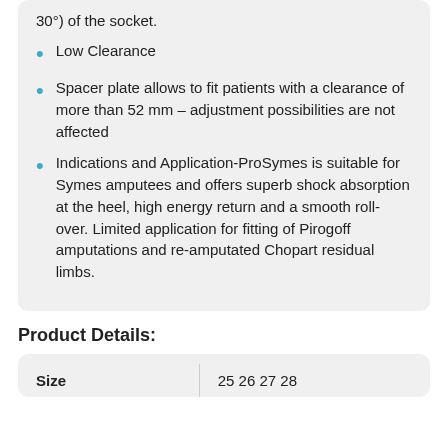30°) of the socket.
Low Clearance
Spacer plate allows to fit patients with a clearance of more than 52 mm – adjustment possibilities are not affected
Indications and Application-ProSymes is suitable for Symes amputees and offers superb shock absorption at the heel, high energy return and a smooth roll-over. Limited application for fitting of Pirogoff amputations and re-amputated Chopart residual limbs.
Product Details:
| Size | 25  26  27  28 |
| --- | --- |